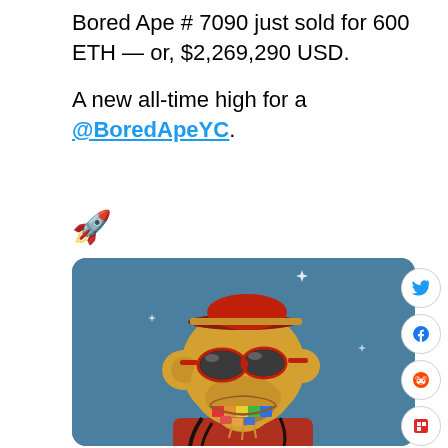Bored Ape # 7090 just sold for 600 ETH — or, $2,269,290 USD.

A new all-time high for a @BoredApeYC.
🚀
[Figure (illustration): Bored Ape Yacht Club NFT #7090 illustration: a golden ape wearing a red bellhop/captain hat with a gold stripe, dark sunglasses with red frames, and a red jacket, smiling to show rainbow-colored teeth, set against a teal-blue background. Social sharing buttons (Twitter, Facebook, Reddit, Flipboard, link) appear on the right side.]